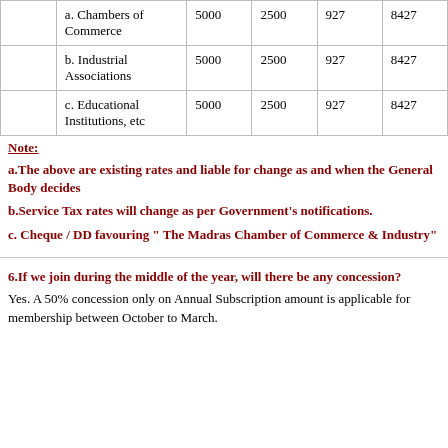|  | a. Chambers of Commerce | 5000 | 2500 | 927 | 8427 |
|  | b. Industrial Associations | 5000 | 2500 | 927 | 8427 |
|  | c. Educational Institutions, etc | 5000 | 2500 | 927 | 8427 |
Note:
a.The above are existing rates and liable for change as and when the General Body decides
b.Service Tax rates will change as per Government's notifications.
c. Cheque / DD favouring " The Madras Chamber of Commerce & Industry"
6.If we join during the middle of the year, will there be any concession?
Yes. A 50% concession only on Annual Subscription amount is applicable for membership between October to March.